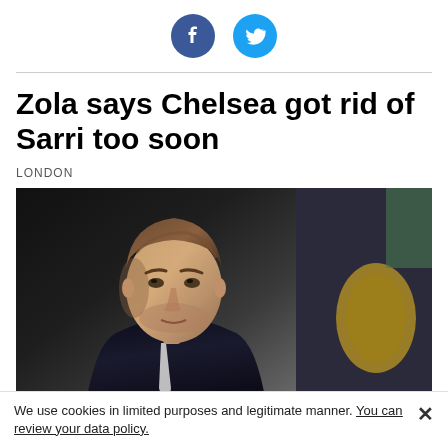[Figure (logo): Facebook and Twitter social share icon buttons (circular blue icons)]
Zola says Chelsea got rid of Sarri too soon
LONDON
[Figure (photo): Close-up photograph of Gianfranco Zola, a man in a dark suit with a white shirt, with blurred background showing a yellow emblem/crest]
We use cookies in limited purposes and legitimate manner. You can review your data policy.